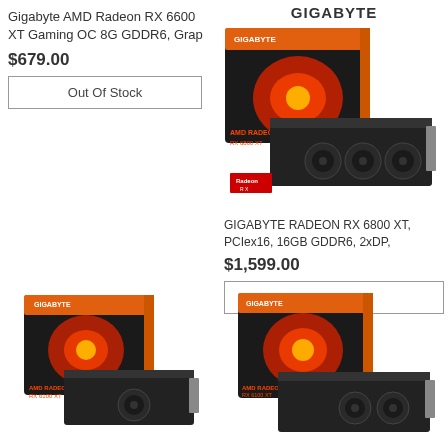Gigabyte AMD Radeon RX 6600 XT Gaming OC 8G GDDR6, Grap
$679.00
Out Of Stock
GIGABYTE
[Figure (photo): Gigabyte AMD Radeon RX 6800 XT graphics card and box product photo]
GIGABYTE RADEON RX 6800 XT, PCIex16, 16GB GDDR6, 2xDP,
$1,599.00
Out Of Stock
[Figure (photo): Gigabyte AMD Radeon RX 6100 graphics card and box product photo bottom left]
[Figure (photo): Gigabyte AMD Radeon RX 6100 graphics card and box product photo bottom right]